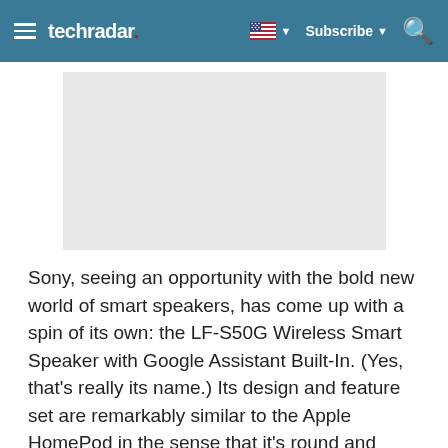techradar — Subscribe
[Figure (photo): Light gray placeholder rectangle representing an image area on the TechRadar article page]
Sony, seeing an opportunity with the bold new world of smart speakers, has come up with a spin of its own: the LF-S50G Wireless Smart Speaker with Google Assistant Built-In. (Yes, that's really its name.) Its design and feature set are remarkably similar to the Apple HomePod in the sense that it's round and audio performance is the speaker's first and foremost priority.